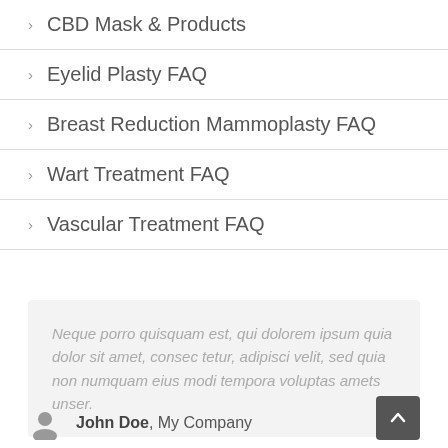> CBD Mask & Products
> Eyelid Plasty FAQ
> Breast Reduction Mammoplasty FAQ
> Wart Treatment FAQ
> Vascular Treatment FAQ
Neque porro quisquam est, qui dolorem ipsum quia dolor sit amet, consec tetur, adipisci velit, sed quia non numquam eius modi tempora voluptas amets unser.
John Doe, My Company